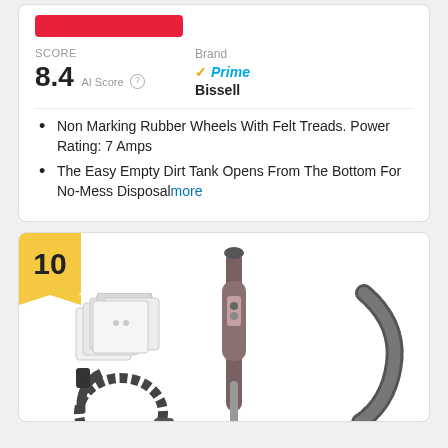SCORE
8.4 AI Score
Brand
Prime
Bissell
Non Marking Rubber Wheels With Felt Treads. Power Rating: 7 Amps
The Easy Empty Dirt Tank Opens From The Bottom For No-Mess Disposalmore
10
[Figure (photo): Vacuum cleaner product image showing bags, hose, wand, and accessories]